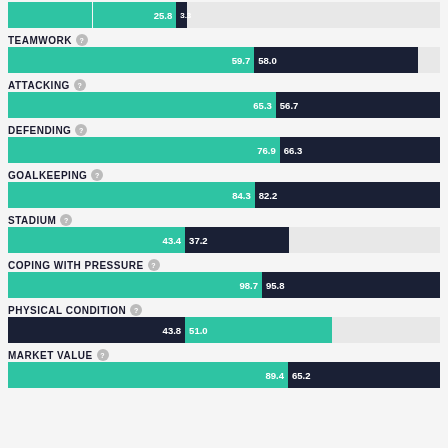[Figure (grouped-bar-chart): Football Club Comparison Metrics]